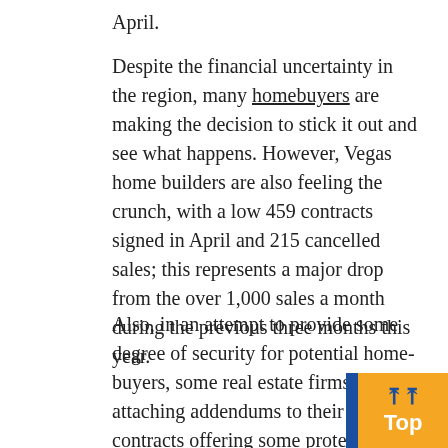April.
Despite the financial uncertainty in the region, many homebuyers are making the decision to stick it out and see what happens. However, Vegas home builders are also feeling the crunch, with a low 459 contracts signed in April and 215 cancelled sales; this represents a major drop from the over 1,000 sales a month during the previous three months this year.
Also, in an attempt to provide some degree of security for potential home-buyers, some real estate firms are attaching addendums to their sales contracts offering some protection for both parties, including the ability for buyers to recover their deposits in the event of financial distress brought about by the pandemic. It is hoped that this addendum – dubbed the